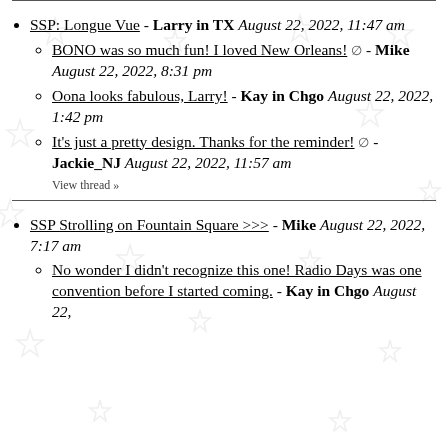SSP: Longue Vue - Larry in TX August 22, 2022, 11:47 am
BONO was so much fun! I loved New Orleans! [edit] - Mike August 22, 2022, 8:31 pm
Oona looks fabulous, Larry! - Kay in Chgo August 22, 2022, 1:42 pm
It's just a pretty design. Thanks for the reminder! [edit] - Jackie_NJ August 22, 2022, 11:57 am
View thread »
SSP Strolling on Fountain Square >>> - Mike August 22, 2022, 7:17 am
No wonder I didn't recognize this one! Radio Days was one convention before I started coming. - Kay in Chgo August 22,